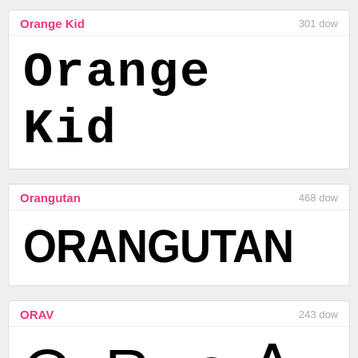Orange Kid — 301 downloads
[Figure (illustration): Font preview showing 'Orange Kid' in a pixel/blocky bitmap-style font, large black text on white background]
Orangutan — 468 downloads
[Figure (illustration): Font preview showing 'ORANGUTAN' in a heavy distorted bold uppercase font, large black text on white background]
ORAV — 243 downloads
[Figure (illustration): Font preview showing 'O R ɔ ∀' in a geometric font with mirrored/flipped letters, large black text on white background]